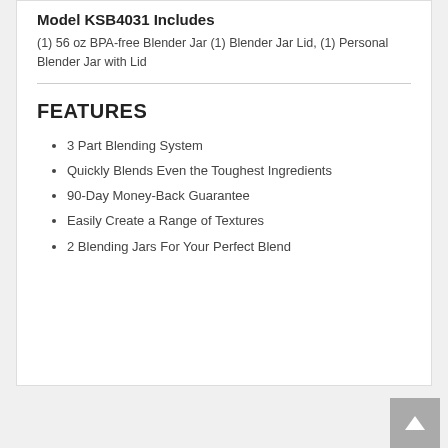Model KSB4031 Includes
(1) 56 oz BPA-free Blender Jar (1) Blender Jar Lid, (1) Personal Blender Jar with Lid
FEATURES
3 Part Blending System
Quickly Blends Even the Toughest Ingredients
90-Day Money-Back Guarantee
Easily Create a Range of Textures
2 Blending Jars For Your Perfect Blend